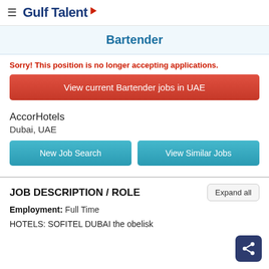≡ GulfTalent
Bartender
Sorry! This position is no longer accepting applications.
View current Bartender jobs in UAE
AccorHotels
Dubai, UAE
New Job Search
View Similar Jobs
JOB DESCRIPTION / ROLE
Employment: Full Time
HOTELS: SOFITEL DUBAI the obelisk